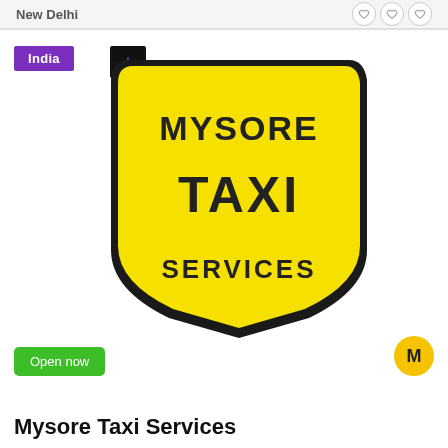New Delhi
India
[Figure (logo): Mysore Taxi Services logo: yellow shield-shaped badge with black border and bold text reading MYSORE TAXI SERVICES]
Open now
Mysore Taxi Services